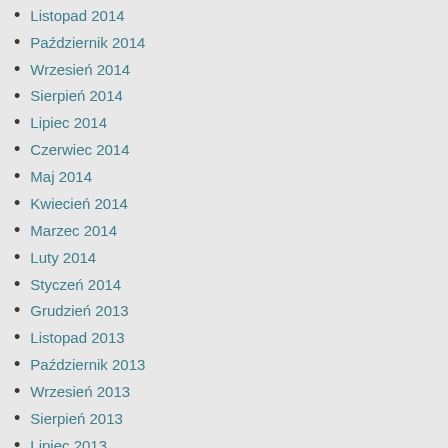Listopad 2014
Październik 2014
Wrzesień 2014
Sierpień 2014
Lipiec 2014
Czerwiec 2014
Maj 2014
Kwiecień 2014
Marzec 2014
Luty 2014
Styczeń 2014
Grudzień 2013
Listopad 2013
Październik 2013
Wrzesień 2013
Sierpień 2013
Lipiec 2013
Czerwiec 2013
Maj 2013
Kwiecień 2013
Marzec 2013
Luty 2013
Styczeń 2013
Grudzień 2012
Listopad 2012
Październik 2012
Wrzesień 2012
Sierpień 2012
Lipiec 2012
Czerwiec 2012
Maj 2012
Kwiecień 2012